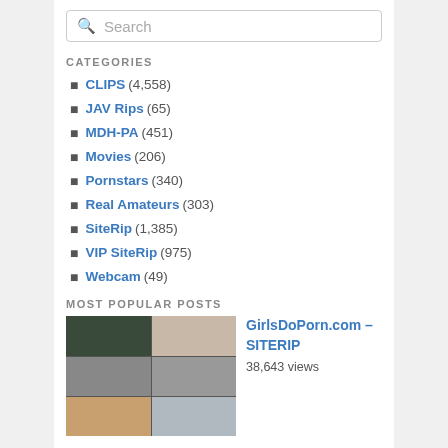Search
CATEGORIES
CLIPS (4,558)
JAV Rips (65)
MDH-PA (451)
Movies (206)
Pornstars (340)
Real Amateurs (303)
SiteRip (1,385)
VIP SiteRip (975)
Webcam (49)
MOST POPULAR POSTS
[Figure (photo): Thumbnail grid collage of video screenshots]
GirlsDoPorn.com – SITERIP
38,643 views